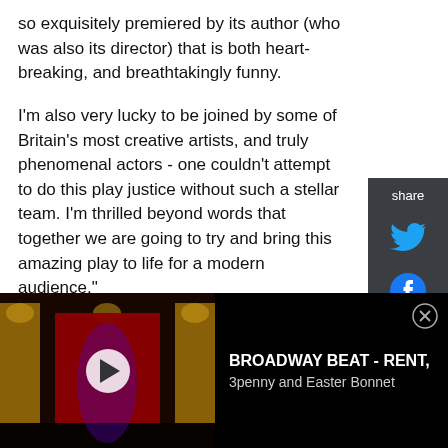so exquisitely premiered by its author (who was also its director) that is both heart-breaking, and breathtakingly funny.
I'm also very lucky to be joined by some of Britain's most creative artists, and truly phenomenal actors - one couldn't attempt to do this play justice without such a stellar team. I'm thrilled beyond words that together we are going to try and bring this amazing play to life for a modern audience."
[Figure (other): Share panel with Twitter and Facebook icons on dark grey background]
[Figure (screenshot): Video advertisement for Broadway Beat - RENT, 3penny and Easter Bonnet. Shows a darkened theatre stage with red curtain and a play button overlay. Ad title: BROADWAY BEAT - RENT, 3penny and Easter Bonnet with a close button.]